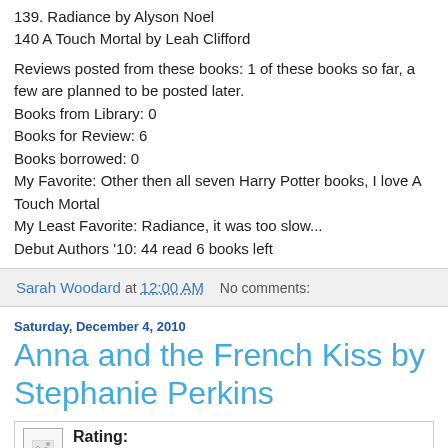139. Radiance by Alyson Noel
140 A Touch Mortal by Leah Clifford
Reviews posted from these books: 1 of these books so far, a few are planned to be posted later.
Books from Library: 0
Books for Review: 6
Books borrowed: 0
My Favorite: Other then all seven Harry Potter books, I love A Touch Mortal
My Least Favorite: Radiance, it was too slow...
Debut Authors '10: 44 read 6 books left
Sarah Woodard at 12:00 AM   No comments:
Saturday, December 4, 2010
Anna and the French Kiss by Stephanie Perkins
Rating: